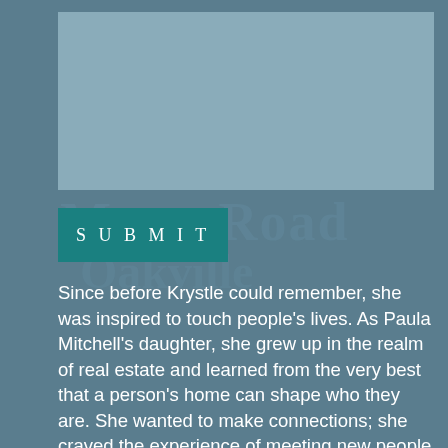[Figure (photo): Placeholder photo box with light blue-grey background, representing a portrait or property image]
SUBMIT
Since before Krystle could remember, she was inspired to touch people's lives. As Paula Mitchell's daughter, she grew up in the realm of real estate and learned from the very best that a person's home can shape who they are. She wanted to make connections; she craved the experience of meeting new people and seeing the world from different perspectives.